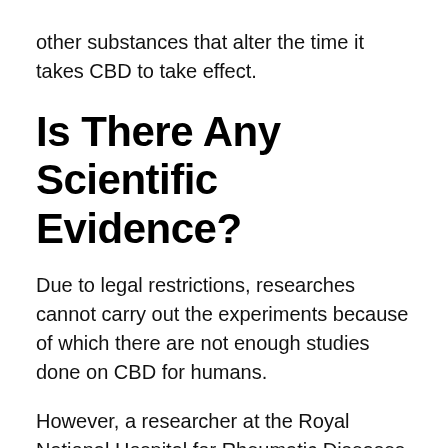other substances that alter the time it takes CBD to take effect.
Is There Any Scientific Evidence?
Due to legal restrictions, researches cannot carry out the experiments because of which there are not enough studies done on CBD for humans.
However, a researcher at the Royal National Hospital for Rheumatic Diseases carried out the first-ever study of CBD to treat rheumatoid arthritis in humans. The study